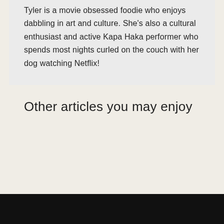Tyler is a movie obsessed foodie who enjoys dabbling in art and culture. She's also a cultural enthusiast and active Kapa Haka performer who spends most nights curled on the couch with her dog watching Netflix!
Other articles you may enjoy